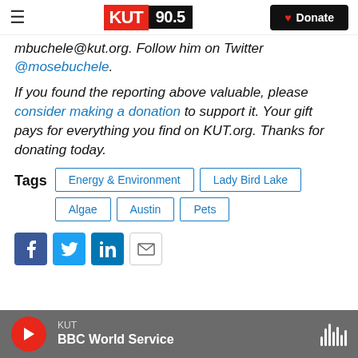KUT 90.5 | Donate
mbuchele@kut.org. Follow him on Twitter @mosebuchele.
If you found the reporting above valuable, please consider making a donation to support it. Your gift pays for everything you find on KUT.org. Thanks for donating today.
Tags  Energy & Environment  Lady Bird Lake  Algae  Austin  Pets
[Figure (other): Social sharing buttons: Facebook, Twitter, LinkedIn, Email]
KUT  BBC World Service  (audio player bar)